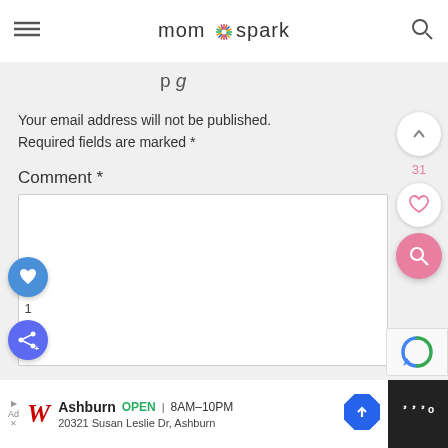mom★spark
Your email address will not be published.
Required fields are marked *
Comment *
[Figure (screenshot): Comment text area input box (empty white rectangle)]
[Figure (screenshot): Floating action buttons on right: up-arrow circle, heart circle with count 31, pink search circle]
[Figure (screenshot): Floating action buttons on left: blue heart circle, count 1, share circle]
[Figure (screenshot): Partial reCAPTCHA badge bottom right]
[Figure (screenshot): Walgreens advertisement bar at bottom: Ashburn OPEN 8AM-10PM, 20321 Susan Leslie Dr, Ashburn]